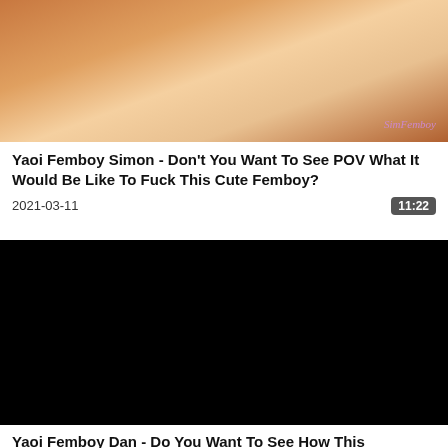[Figure (illustration): Cropped anime/illustration thumbnail showing a figure from behind with watermark text 'SimFemboy' in purple]
Yaoi Femboy Simon - Don't You Want To See POV What It Would Be Like To Fuck This Cute Femboy?
2021-03-11   11:22
[Figure (photo): Black video thumbnail/placeholder]
Yaoi Femboy Dan - Do You Want To See How This Femboy's Nice Ass